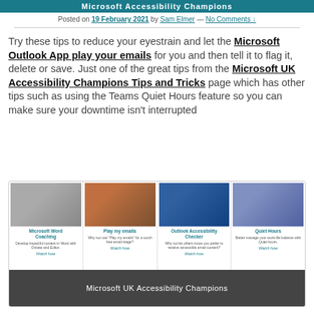Microsoft Accessibility Champions
Posted on 19 February 2021 by Sam Elmer — No Comments ↓
Try these tips to reduce your eyestrain and let the Microsoft Outlook App play your emails for you and then tell it to flag it, delete or save. Just one of the great tips from the Microsoft UK Accessibility Champions Tips and Tricks page which has other tips such as using the Teams Quiet Hours feature so you can make sure your downtime isn't interrupted
[Figure (screenshot): Microsoft UK Accessibility Champions video cards showing: Microsoft Word Coaching, Play my emails, Outlook Accessibility Checker, Quiet Hours — each with a thumbnail photo and Watch how link. Footer reads Microsoft UK Accessibility Champions.]